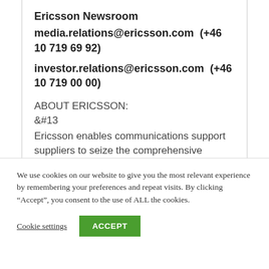Ericsson Newsroom
media.relations@ericsson.com  (+46 10 719 69 92)
investor.relations@ericsson.com  (+46 10 719 00 00)
ABOUT ERICSSON:
&#13
Ericsson enables communications support suppliers to seize the comprehensive benefit of connectivity. The company's portfolio spans
We use cookies on our website to give you the most relevant experience by remembering your preferences and repeat visits. By clicking “Accept”, you consent to the use of ALL the cookies.
Cookie settings
ACCEPT